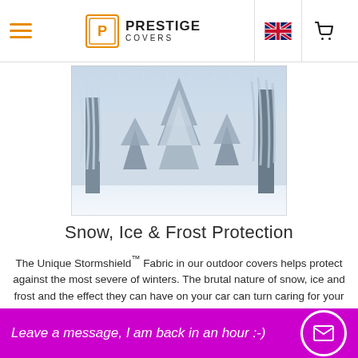Prestige Covers — navigation bar with hamburger menu, logo, UK flag, and cart icon
[Figure (photo): Winter snow scene with frost-covered trees, blue-grey tones]
Snow, Ice & Frost Protection
The Unique Stormshield™ Fabric in our outdoor covers helps protect against the most severe of winters. The brutal nature of snow, ice and frost and the effect they can have on your car can turn caring for your car into a stressful process. Your car is a big pleasure in your life, right? Show it some respect, with a Stormshield™ outdoor car cover, your car will be well shielded from the harshest of elements. Th... c designed to also protect cars from the harmful effects of direct sunlight, dirt, abrasion and damp weather
Leave a message, I am back in an hour :-)